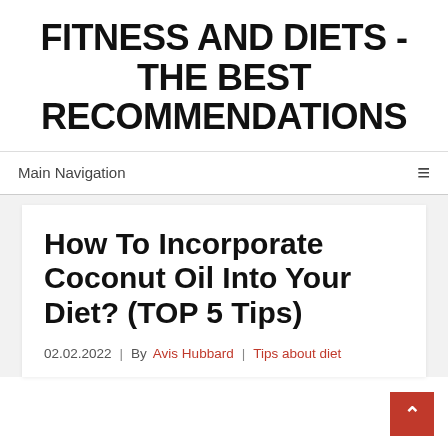FITNESS AND DIETS - THE BEST RECOMMENDATIONS
Main Navigation
How To Incorporate Coconut Oil Into Your Diet? (TOP 5 Tips)
02.02.2022 | By Avis Hubbard | Tips about diet